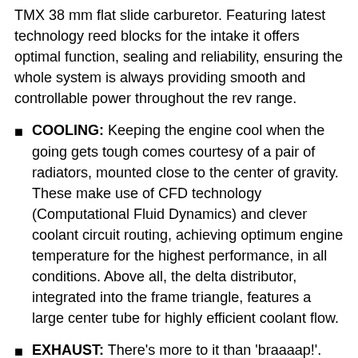TMX 38 mm flat slide carburetor. Featuring latest technology reed blocks for the intake it offers optimal function, sealing and reliability, ensuring the whole system is always providing smooth and controllable power throughout the rev range.
COOLING: Keeping the engine cool when the going gets tough comes courtesy of a pair of radiators, mounted close to the center of gravity. These make use of CFD technology (Computational Fluid Dynamics) and clever coolant circuit routing, achieving optimum engine temperature for the highest performance, in all conditions. Above all, the delta distributor, integrated into the frame triangle, features a large center tube for highly efficient coolant flow.
EXHAUST: There's more to it than 'braaaap!'. The exhaust plays a key role in packing that signature 2-stroke punch. When it comes to power delivery and performance, the exhaust is developed specifically for the KTM 125 XC and plays a key role in packing a punch. In addition, its special shape provides slimmer ergonomics while still operating safely within the noise limits for racing.